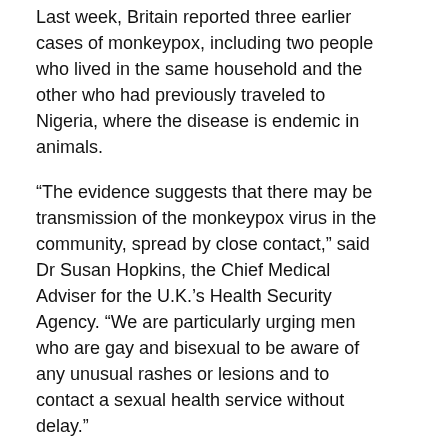Last week, Britain reported three earlier cases of monkeypox, including two people who lived in the same household and the other who had previously traveled to Nigeria, where the disease is endemic in animals.
“The evidence suggests that there may be transmission of the monkeypox virus in the community, spread by close contact,” said Dr Susan Hopkins, the Chief Medical Adviser for the U.K.’s Health Security Agency. “We are particularly urging men who are gay and bisexual to be aware of any unusual rashes or lesions and to contact a sexual health service without delay.”
Monkeypox is a viral disease usually spread by touching or getting bitten by infected wild animals like rats or squirrels in western and central Africa. The disease does not typically spread easily between people, but British health officials say it’s possible if there was extremely close contact with an infected person.
Monkeypox is not known to be a sexually transmitted disease.